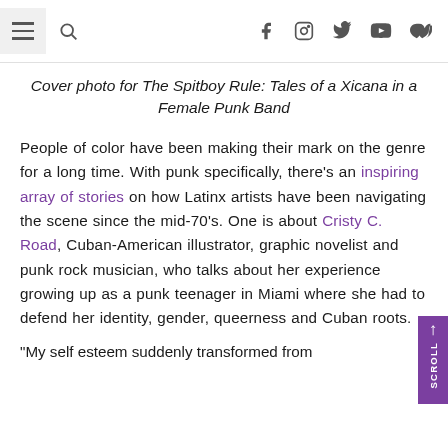[navigation bar with hamburger menu, search, and social icons: Facebook, Instagram, Twitter, YouTube, SoundCloud]
Cover photo for The Spitboy Rule: Tales of a Xicana in a Female Punk Band
People of color have been making their mark on the genre for a long time. With punk specifically, there's an inspiring array of stories on how Latinx artists have been navigating the scene since the mid-70's. One is about Cristy C. Road, Cuban-American illustrator, graphic novelist and punk rock musician, who talks about her experience growing up as a punk teenager in Miami where she had to defend her identity, gender, queerness and Cuban roots.
“My self esteem suddenly transformed from